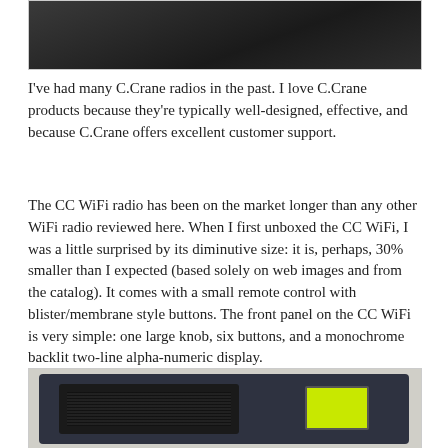[Figure (photo): Top portion of a C.Crane WiFi radio device shown from above/side angle, dark colored device on white background]
I've had many C.Crane radios in the past. I love C.Crane products because they're typically well-designed, effective, and because C.Crane offers excellent customer support.
The CC WiFi radio has been on the market longer than any other WiFi radio reviewed here. When I first unboxed the CC WiFi, I was a little surprised by its diminutive size: it is, perhaps, 30% smaller than I expected (based solely on web images and from the catalog). It comes with a small remote control with blister/membrane style buttons. The front panel on the CC WiFi is very simple: one large knob, six buttons, and a monochrome backlit two-line alpha-numeric display.
[Figure (photo): Front panel of C.Crane CC WiFi radio showing dark navy/charcoal body with mesh speaker grill on the left and a green/yellow backlit display on the right]